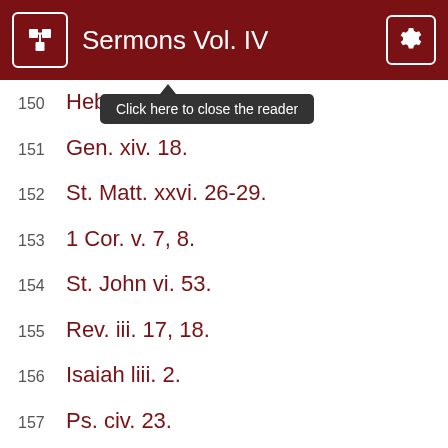Sermons Vol. IV
150  Heb.
151  Gen. xiv. 18.
152  St. Matt. xxvi. 26-29.
153  1 Cor. v. 7, 8.
154  St. John vi. 53.
155  Rev. iii. 17, 18.
156  Isaiah liii. 2.
157  Ps. civ. 23.
158  Compare St. Matt. xi. 28, with the “Office for the Holy Communion.”
159  Deut. xxxiii. 25.
160  St. John i. 1…